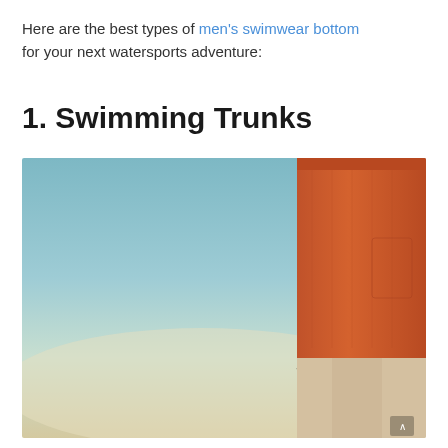Here are the best types of men's swimwear bottom for your next watersports adventure:
1. Swimming Trunks
[Figure (photo): A man wearing orange swim trunks holding sunglasses by his side, photographed from the waist down against a teal/blue sky background.]